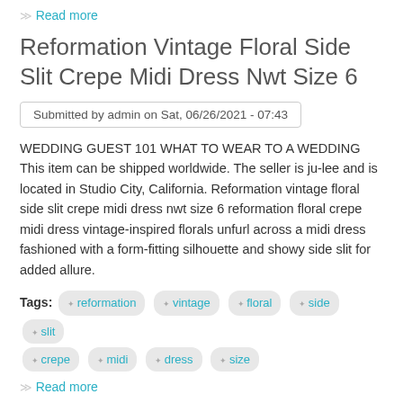Read more
Reformation Vintage Floral Side Slit Crepe Midi Dress Nwt Size 6
Submitted by admin on Sat, 06/26/2021 - 07:43
WEDDING GUEST 101 WHAT TO WEAR TO A WEDDING This item can be shipped worldwide. The seller is ju-lee and is located in Studio City, California. Reformation vintage floral side slit crepe midi dress nwt size 6 reformation floral crepe midi dress vintage-inspired florals unfurl across a midi dress fashioned with a form-fitting silhouette and showy side slit for added allure.
Tags: reformation vintage floral side slit crepe midi dress size
Read more
Vintage Car Truck Neiman Steering Column Ignition Switch Lock Cylinder Assembly
Submitted by admin on Fri, 04/09/2021 - 07:27
Replace the Chevrolet GMC C10 truck ignition lock cylinder with NO key